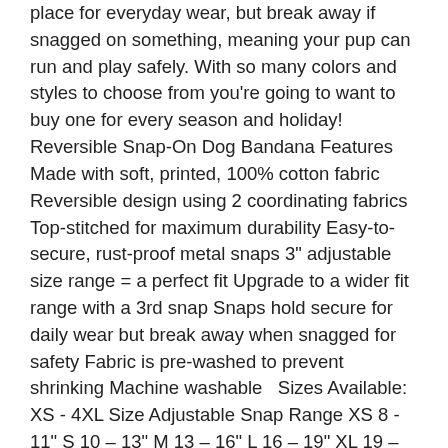place for everyday wear, but break away if snagged on something, meaning your pup can run and play safely. With so many colors and styles to choose from you're going to want to buy one for every season and holiday!   Reversible Snap-On Dog Bandana Features Made with soft, printed, 100% cotton fabric Reversible design using 2 coordinating fabrics Top-stitched for maximum durability Easy-to-secure, rust-proof metal snaps 3" adjustable size range = a perfect fit Upgrade to a wider fit range with a 3rd snap Snaps hold secure for daily wear but break away when snagged for safety Fabric is pre-washed to prevent shrinking Machine washable   Sizes Available: XS - 4XL Size Adjustable Snap Range XS 8 - 11" S 10 – 13" M 13 – 16" L 16 – 19" XL 19 – 22" XXL 22 – 25" 3XL 25 – 28" 4XL 29 - 32" Sizes listed are the length at which the bandana snaps secure (not your dog's neck size). Please be sure to double check your dog's neck measurement. See listing images for measurement guide.   How To Find The Perfect Fit Most dogs find the perfect bandana fit by adding 1" – 2" to their measured neck size to account for their collar, thick or longer fur, and a